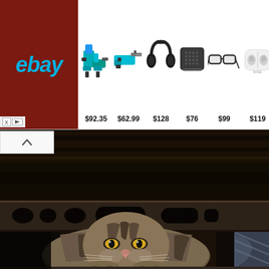[Figure (screenshot): eBay advertisement banner showing logo on dark red background and 6 products with prices: power tools $92.35, reciprocating saw $62.99, Sony headphones $128, Bose speaker $76, smart glasses $99, Bose earbuds $119]
[Figure (photo): A tabby cat peeking out from underneath what appears to be a metal bed frame or furniture, with its face visible through a gap showing eyes, whiskers, and striped fur pattern. Dark industrial setting.]